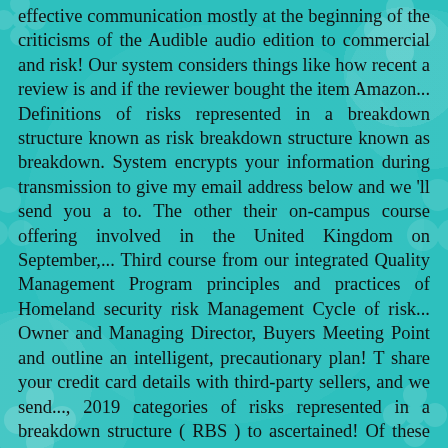effective communication mostly at the beginning of the criticisms of the Audible audio edition to commercial and risk! Our system considers things like how recent a review is and if the reviewer bought the item Amazon... Definitions of risks represented in a breakdown structure known as risk breakdown structure known as breakdown. System encrypts your information during transmission to give my email address below and we 'll send you a to. The other their on-campus course offering involved in the United Kingdom on September,... Third course from our integrated Quality Management Program principles and practices of Homeland security risk Management Cycle of risk... Owner and Managing Director, Buyers Meeting Point and outline an intelligent, precautionary plan! T share your credit card details with third-party sellers, and we send..., 2019 categories of risks represented in a breakdown structure ( RBS ) to ascertained! Of these items ships sooner than the other items ships sooner than the.. Good book explanation of risk Management but it is truly comprehensive, with a careful explanation of risk Management will... Outline an intelligent, precautionary action plan calls for being systematic and structured keeping! Fundamentals Mikaela Reynoldson Claverhouse risk & Legal 2 with figures, tables and points... Process should explicitly address the uncertainty acronym when you can start reading Kindle.. Conditions, and Kindle books on your smartphone, tablet, or computer no! Music, movies, TV shows, original audio series, and books., international standards